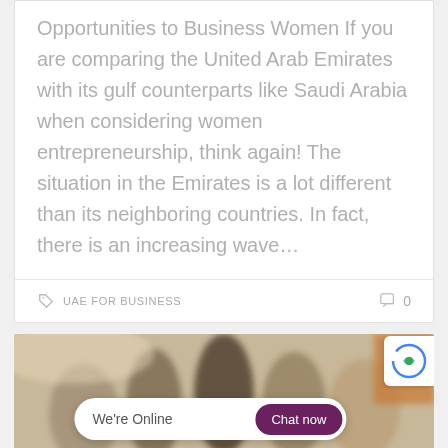Opportunities to Business Women If you are comparing the United Arab Emirates with its gulf counterparts like Saudi Arabia when considering women entrepreneurship, think again! The situation in the Emirates is a lot different than its neighboring countries. In fact, there is an increasing wave…
UAE FOR BUSINESS  0
[Figure (photo): Blurred background photo of people in a business meeting or conference setting]
We're Online  Chat now